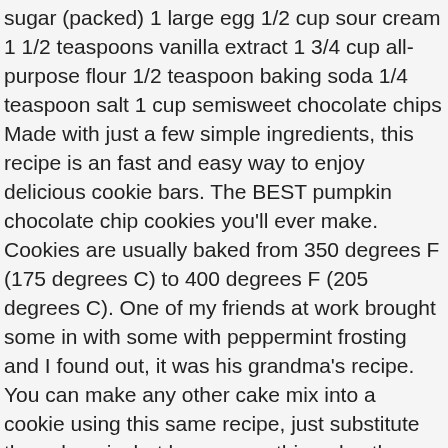sugar (packed) 1 large egg 1/2 cup sour cream 1 1/2 teaspoons vanilla extract 1 3/4 cup all-purpose flour 1/2 teaspoon baking soda 1/4 teaspoon salt 1 cup semisweet chocolate chips Made with just a few simple ingredients, this recipe is an fast and easy way to enjoy delicious cookie bars. The BEST pumpkin chocolate chip cookies you'll ever make. Cookies are usually baked from 350 degrees F (175 degrees C) to 400 degrees F (205 degrees C). One of my friends at work brought some in with some with peppermint frosting and I found out, it was his grandma's recipe. You can make any other cake mix into a cookie using this same recipe, just substitute the cake mix, but leave everything else the same. … Line baking sheets with parchment paper. Since cookies are small they tend to bake fast. Feel free to sub them for fancier chocolate. Ingredients. 2 sticks cold unsalted butter, … If you want them to be crispy, bake them a little longer. Q: I just started learning to bake, and after several batches of cookies, I can't figure out how to get the consistency I want — chewy and soft, or even chewy and crunchy. Some